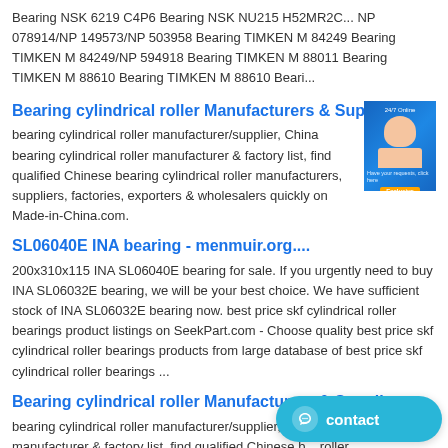Bearing NSK 6219 C4P6 Bearing NSK NU215 H52MR2C... NP 078914/NP 149573/NP 503958 Bearing TIMKEN M 84249 Bearing TIMKEN M 84249/NP 594918 Bearing TIMKEN M 88011 Bearing TIMKEN M 88610 Bearing TIMKEN M 88610 Beari...
Bearing cylindrical roller Manufacturers & Suppliers ....
bearing cylindrical roller manufacturer/supplier, China bearing cylindrical roller manufacturer & factory list, find qualified Chinese bearing cylindrical roller manufacturers, suppliers, factories, exporters & wholesalers quickly on Made-in-China.com.
SL06040E INA bearing - menmuir.org....
200x310x115 INA SL06040E bearing for sale. If you urgently need to buy INA SL06032E bearing, we will be your best choice. We have sufficient stock of INA SL06032E bearing now. best price skf cylindrical roller bearings product listings on SeekPart.com - Choose quality best price skf cylindrical roller bearings products from large database of best price skf cylindrical roller bearings ...
Bearing cylindrical roller Manufacturers & Suppliers ....
bearing cylindrical roller manufacturer/supplier, China be... roller manufacturer & factory list, find qualified Chinese b... roller manufacturers, suppliers, factories, exporters & wholesalers quickly on